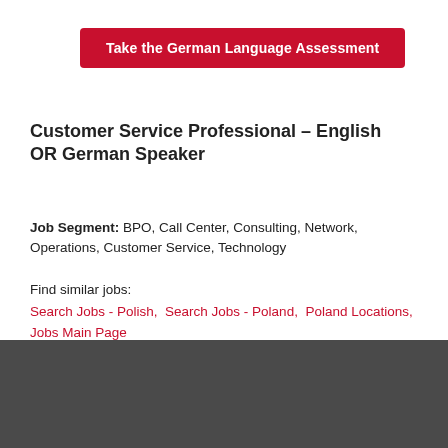Take the German Language Assessment
Customer Service Professional – English OR German Speaker
Job Segment: BPO, Call Center, Consulting, Network, Operations, Customer Service, Technology
Find similar jobs:
Search Jobs - Polish, Search Jobs - Poland, Poland Locations, Jobs Main Page
sitel